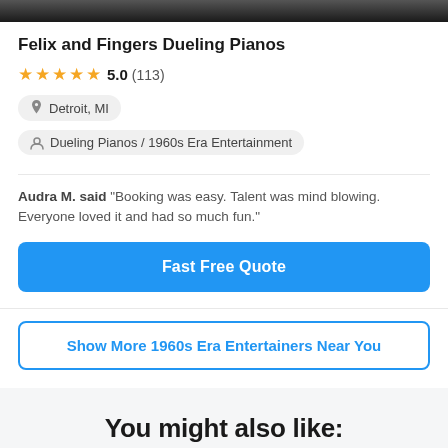[Figure (photo): Top portion of a dark photo showing performers at a dueling pianos event]
Felix and Fingers Dueling Pianos
★★★★★ 5.0 (113)
Detroit, MI
Dueling Pianos / 1960s Era Entertainment
Audra M. said "Booking was easy. Talent was mind blowing. Everyone loved it and had so much fun."
Fast Free Quote
Show More 1960s Era Entertainers Near You
You might also like: